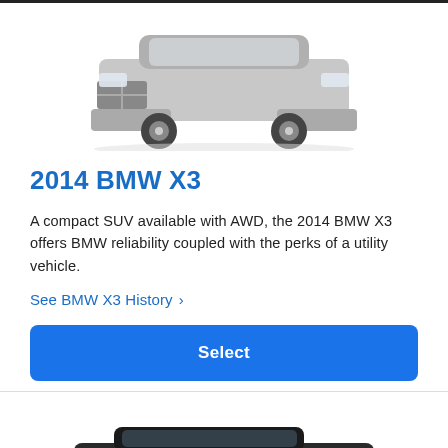[Figure (photo): Front/underside view of a silver SUV (2014 BMW X3) shown from low angle on white background]
2014 BMW X3
A compact SUV available with AWD, the 2014 BMW X3 offers BMW reliability coupled with the perks of a utility vehicle.
See BMW X3 History >
Select
[Figure (photo): Rear three-quarter view of a dark/black SUV partially visible at the bottom of the page]